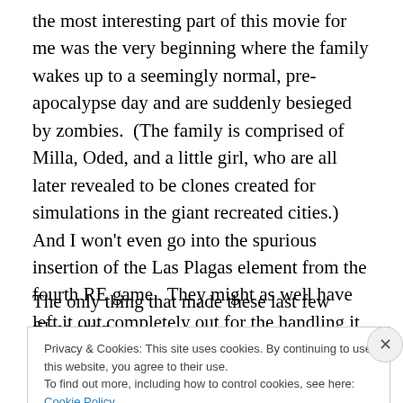the most interesting part of this movie for me was the very beginning where the family wakes up to a seemingly normal, pre-apocalypse day and are suddenly besieged by zombies.  (The family is comprised of Milla, Oded, and a little girl, who are all later revealed to be clones created for simulations in the giant recreated cities.) And I won't even go into the spurious insertion of the Las Plagas element from the fourth RE game.  They might as well have left it out completely out for the handling it received.
The only thing that made these last few films even
Privacy & Cookies: This site uses cookies. By continuing to use this website, you agree to their use.
To find out more, including how to control cookies, see here: Cookie Policy